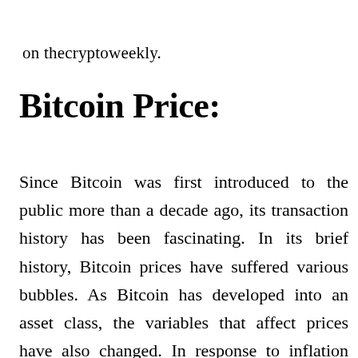on thecryptoweekly.
Bitcoin Price:
Since Bitcoin was first introduced to the public more than a decade ago, its transaction history has been fascinating. In its brief history, Bitcoin prices have suffered various bubbles. As Bitcoin has developed into an asset class, the variables that affect prices have also changed. In response to inflation and uncertainty about the future purchasing power of the U.S. dollar,